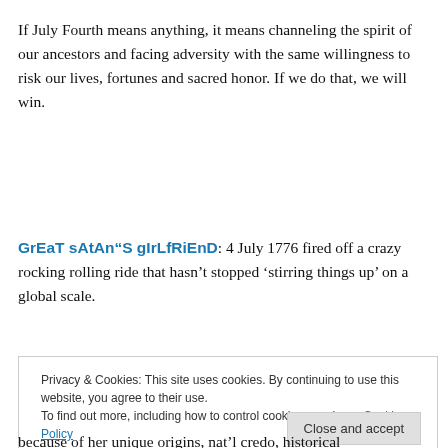If July Fourth means anything, it means channeling the spirit of our ancestors and facing adversity with the same willingness to risk our lives, fortunes and sacred honor. If we do that, we will win.
GrEaT sAtAn“S gIrLfRiEnD: 4 July 1776 fired off a crazy rocking rolling ride that hasn’t stopped ‘stirring things up’ on a global scale.
Privacy & Cookies: This site uses cookies. By continuing to use this website, you agree to their use.
To find out more, including how to control cookies, see here: Cookie Policy
Close and accept
because of her unique origins, nat’l credo, historical